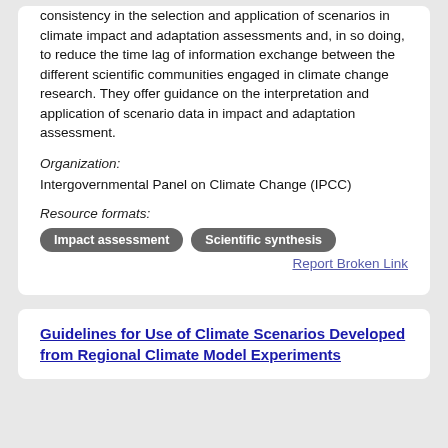consistency in the selection and application of scenarios in climate impact and adaptation assessments and, in so doing, to reduce the time lag of information exchange between the different scientific communities engaged in climate change research. They offer guidance on the interpretation and application of scenario data in impact and adaptation assessment.
Organization: Intergovernmental Panel on Climate Change (IPCC)
Resource formats:
Impact assessment  Scientific synthesis
Report Broken Link
Guidelines for Use of Climate Scenarios Developed from Regional Climate Model Experiments